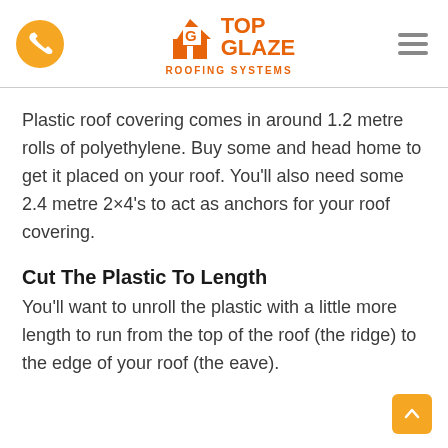Top Glaze Roofing Systems
Plastic roof covering comes in around 1.2 metre rolls of polyethylene. Buy some and head home to get it placed on your roof. You'll also need some 2.4 metre 2×4's to act as anchors for your roof covering.
Cut The Plastic To Length
You'll want to unroll the plastic with a little more length to run from the top of the roof (the ridge) to the edge of your roof (the eave).